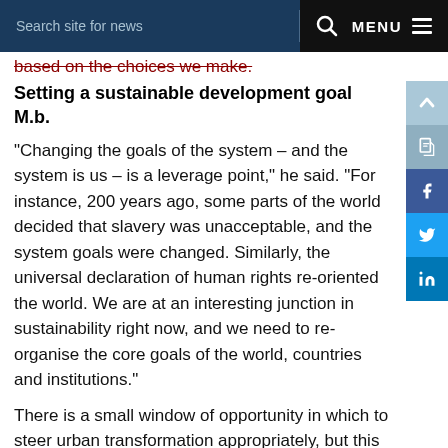Search site for news   MENU
based on the choices we make.
Setting a sustainable development goal M.b.
"Changing the goals of the system – and the system is us – is a leverage point," he said. "For instance, 200 years ago, some parts of the world decided that slavery was unacceptable, and the system goals were changed. Similarly, the universal declaration of human rights re-oriented the world. We are at an interesting junction in sustainability right now, and we need to re-organise the core goals of the world, countries and institutions."
There is a small window of opportunity in which to steer urban transformation appropriately, but this needs city-scale development goals that reflect the kinds of global goals drawn up by the United Nations in the Millennium Development Goals (MDGs) and the Sustainable Development Goals (SDGs).